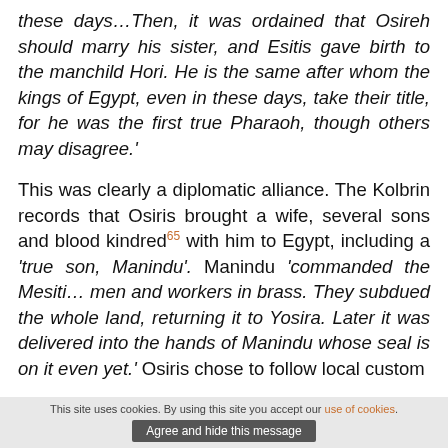these days…Then, it was ordained that Osireh should marry his sister, and Esitis gave birth to the manchild Hori. He is the same after whom the kings of Egypt, even in these days, take their title, for he was the first true Pharaoh, though others may disagree.'
This was clearly a diplomatic alliance. The Kolbrin records that Osiris brought a wife, several sons and blood kindred[65] with him to Egypt, including a 'true son, Manindu'. Manindu 'commanded the Mesiti… men and workers in brass. They subdued the whole land, returning it to Yosira. Later it was delivered into the hands of Manindu whose seal is on it even yet.' Osiris chose to follow local custom
This site uses cookies. By using this site you accept our use of cookies. Agree and hide this message